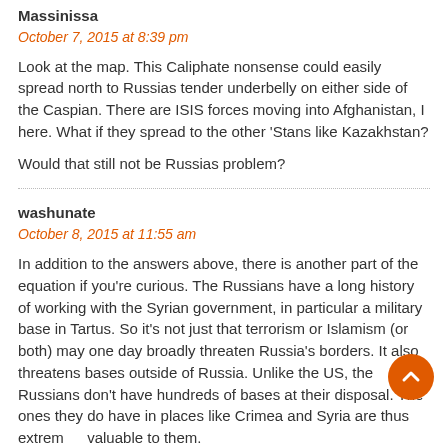Massinissa
October 7, 2015 at 8:39 pm
Look at the map. This Caliphate nonsense could easily spread north to Russias tender underbelly on either side of the Caspian. There are ISIS forces moving into Afghanistan, I here. What if they spread to the other 'Stans like Kazakhstan?
Would that still not be Russias problem?
washunate
October 8, 2015 at 11:55 am
In addition to the answers above, there is another part of the equation if you're curious. The Russians have a long history of working with the Syrian government, in particular a military base in Tartus. So it's not just that terrorism or Islamism (or both) may one day broadly threaten Russia's borders. It also threatens bases outside of Russia. Unlike the US, the Russians don't have hundreds of bases at their disposal. The ones they do have in places like Crimea and Syria are thus extremely valuable to them.
Also, isn't it interesting that that is precisely where trouble